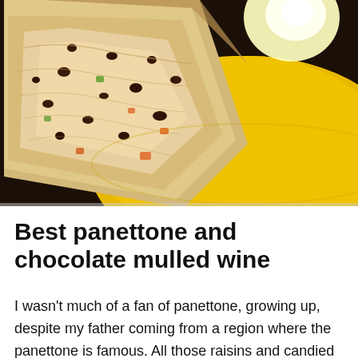[Figure (photo): A slice of panettone with raisins and candied fruit pieces, placed on a bright yellow plate, with a light glare in the upper right corner.]
Best panettone and chocolate mulled wine
I wasn't much of a fan of panettone, growing up, despite my father coming from a region where the panettone is famous. All those raisins and candied fruit. I much preferred pandoro ('bread of gold') which was, to me, like panettone but without any of the bits in and you'd dust it